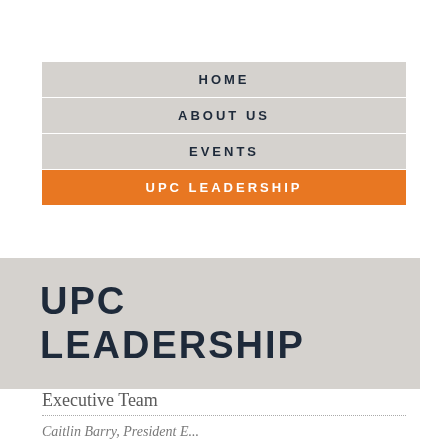HOME
ABOUT US
EVENTS
UPC LEADERSHIP
UPC LEADERSHIP
Executive Team
Caitlin Barry, President E...